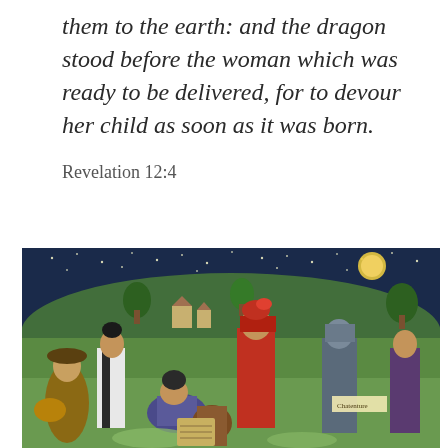them to the earth: and the dragon stood before the woman which was ready to be delivered, for to devour her child as soon as it was born.
Revelation 12:4
[Figure (illustration): A medieval tapestry depicting multiple figures in colorful robes and armor under a night sky with stars and a moon. The scene shows various people in a landscape with trees and buildings in the background, rendered in rich reds, greens, golds, and blues.]